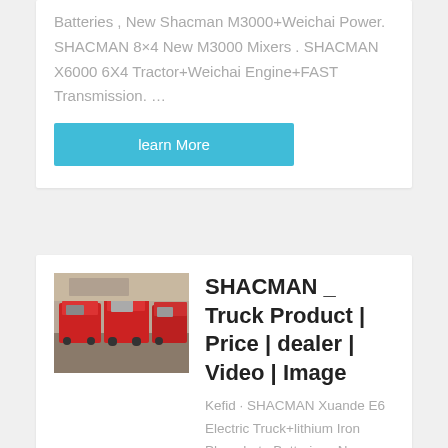Batteries , New Shacman M3000+Weichai Power. SHACMAN 8×4 New M3000 Mixers . SHACMAN X6000 6X4 Tractor+Weichai Engine+FAST Transmission. …
learn More
[Figure (photo): Thumbnail photo showing multiple red SHACMAN trucks parked together, viewed from the rear/side angle.]
SHACMAN _ Truck Product | Price | dealer | Video | Image
Kefid · SHACMAN Xuande E6 Electric Truck+lithium Iron Phosphate Batteries , New Shacman M3000+Weichai Power. SHACMAN